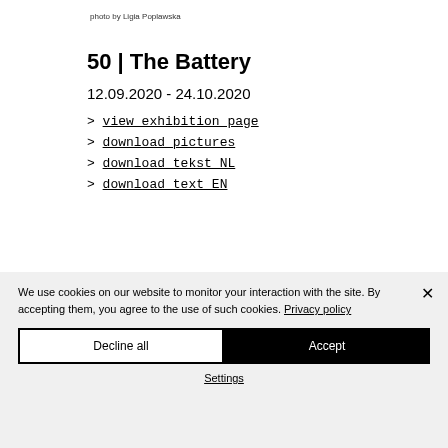photo by Ligia Poplawska
50 | The Battery
12.09.2020 - 24.10.2020
> view exhibition page
> download pictures
> download tekst NL
> download text EN
We use cookies on our website to monitor your interaction with the site. By accepting them, you agree to the use of such cookies. Privacy policy
Decline all
Accept
Settings